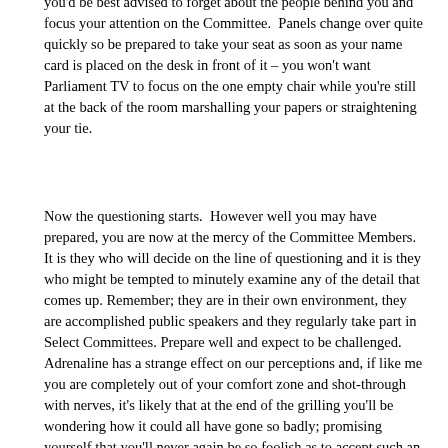you'd be best advised to forget about the people behind you and focus your attention on the Committee. Panels change over quite quickly so be prepared to take your seat as soon as your name card is placed on the desk in front of it – you won't want Parliament TV to focus on the one empty chair while you're still at the back of the room marshalling your papers or straightening your tie.
Now the questioning starts. However well you may have prepared, you are now at the mercy of the Committee Members. It is they who will decide on the line of questioning and it is they who might be tempted to minutely examine any of the detail that comes up. Remember; they are in their own environment, they are accomplished public speakers and they regularly take part in Select Committees. Prepare well and expect to be challenged. Adrenaline has a strange effect on our perceptions and, if like me you are completely out of your comfort zone and shot-through with nerves, it's likely that at the end of the grilling you'll be wondering how it could all have gone so badly; promising yourself that you'll never again be so foolish as to accept such an invitation. Fear not. Parliament TV will come to your rescue and once you pluck up the courage to go online and witness the proceedings you'll realise that actually you didn't do too badly and you even managed to get across a fair number of the points that you'd